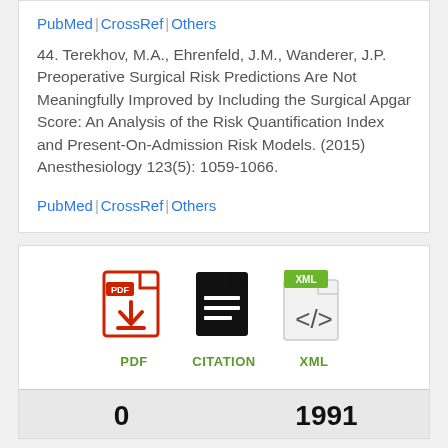PubMed | CrossRef | Others
44. Terekhov, M.A., Ehrenfeld, J.M., Wanderer, J.P. Preoperative Surgical Risk Predictions Are Not Meaningfully Improved by Including the Surgical Apgar Score: An Analysis of the Risk Quantification Index and Present-On-Admission Risk Models. (2015) Anesthesiology 123(5): 1059-1066.
PubMed | CrossRef | Others
[Figure (infographic): PDF, CITATION, and XML download icons with labels]
0      1991